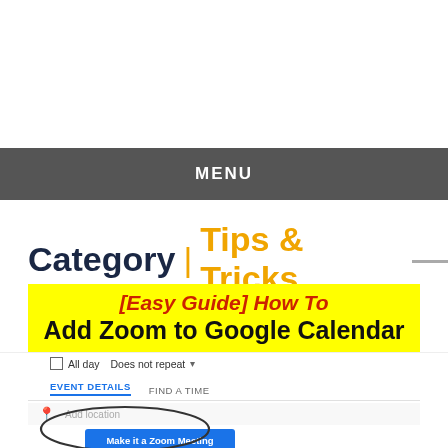MENU
Category | Tips & Tricks
[Easy Guide] How To Add Zoom to Google Calendar
[Figure (screenshot): Google Calendar event detail form showing All day checkbox, Does not repeat dropdown, EVENT DETAILS and FIND A TIME tabs, Add location field, and Make it a Zoom Meeting button with a circle drawn around it.]